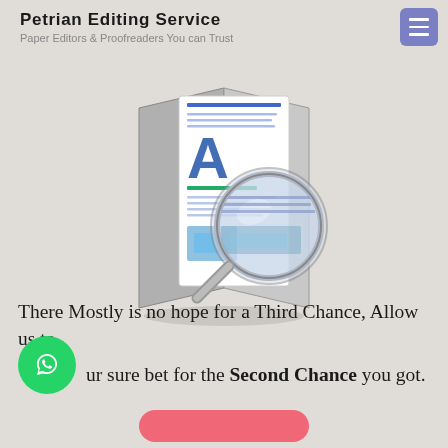Petrian Editing Service
Paper Editors & Proofreaders You can Trust
[Figure (illustration): An open folder/document with a large letter A and blue lines visible, overlaid with a magnifying glass icon, on a beige background.]
There Mostly is no hope for a Third Chance, Allow us to be your sure bet for the Second Chance you got.